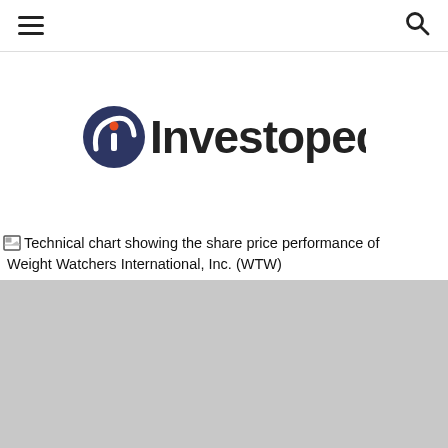[hamburger menu] [search icon]
[Figure (logo): Investopedia logo: circular dark navy icon with stylized 'i' and orange dot, followed by bold dark text 'Investopedia']
[Figure (other): Technical chart showing the share price performance of Weight Watchers International, Inc. (WTW) — image broken/not loaded, shown as gray placeholder]